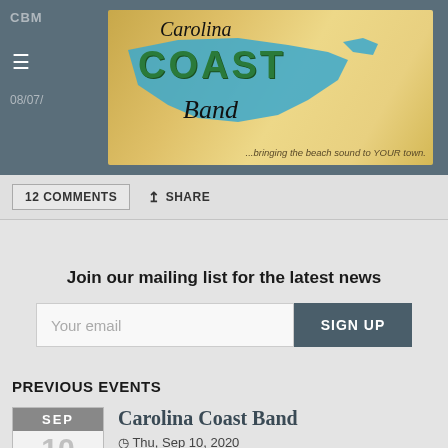[Figure (logo): Carolina Coast Band logo banner with NC state shape in blue/teal, 'Carolina' in script, 'COAST' in large green bold letters, 'Band' in script, tagline '...bringing the beach sound to YOUR town.' on sandy/golden background]
12 COMMENTS
SHARE
Join our mailing list for the latest news
Your email
SIGN UP
PREVIOUS EVENTS
Carolina Coast Band
Thu, Sep 10, 2020